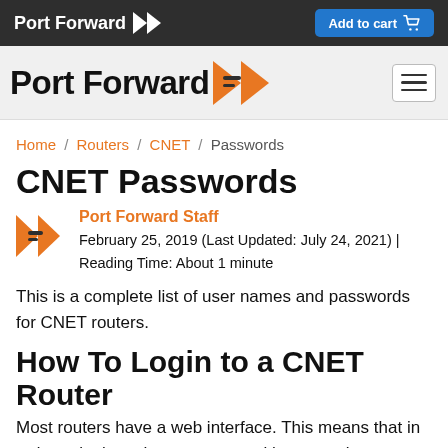Port Forward | Add to cart
[Figure (logo): Port Forward logo bar with hamburger menu]
Home / Routers / CNET / Passwords
CNET Passwords
Port Forward Staff
February 25, 2019 (Last Updated: July 24, 2021) | Reading Time: About 1 minute
This is a complete list of user names and passwords for CNET routers.
How To Login to a CNET Router
Most routers have a web interface. This means that in order to login to them you start with your web